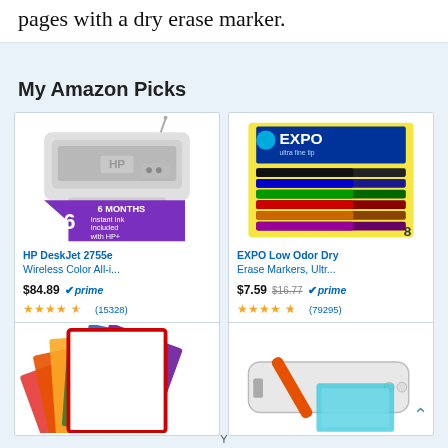pages with a dry erase marker.
My Amazon Picks
[Figure (screenshot): HP DeskJet 2755e product image with purple '6 MONTHS Instant Ink Included with HP+' badge]
HP DeskJet 2755e Wireless Color All-i...
$84.89 prime (15328)
[Figure (screenshot): EXPO Low Odor Dry Erase Markers Ultra Fine Tip 8-pack product image]
EXPO Low Odor Dry Erase Markers, Ultr...
$7.59 $16.77 prime (79295)
[Figure (photo): Colorful multi-color plastic document sleeves/folders fanned out]
[Figure (photo): White laminator machine with orange pen and teal laminating pouches]